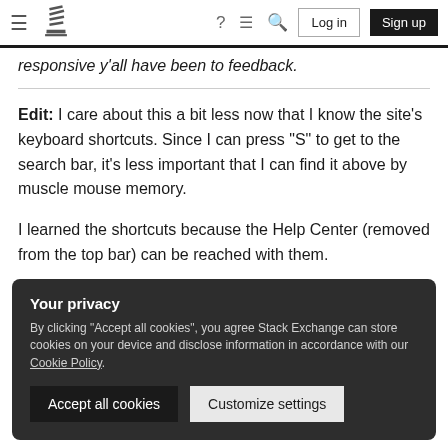Stack Exchange navigation bar with hamburger menu, logo, help, chat, search icons, Log in and Sign up buttons
responsive y'all have been to feedback.
Edit: I care about this a bit less now that I know the site's keyboard shortcuts. Since I can press "S" to get to the search bar, it's less important that I can find it above by muscle mouse memory.
I learned the shortcuts because the Help Center (removed from the top bar) can be reached with them.
Your privacy
By clicking "Accept all cookies", you agree Stack Exchange can store cookies on your device and disclose information in accordance with our Cookie Policy.
Accept all cookies
Customize settings